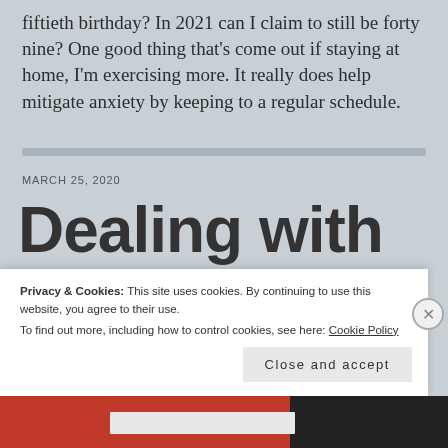fiftieth birthday? In 2021 can I claim to still be forty nine? One good thing that's come out if staying at home, I'm exercising more. It really does help mitigate anxiety by keeping to a regular schedule.
MARCH 25, 2020
Dealing with COVID-19
Privacy & Cookies: This site uses cookies. By continuing to use this website, you agree to their use. To find out more, including how to control cookies, see here: Cookie Policy